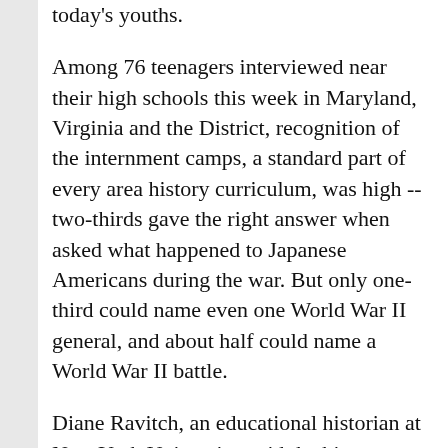today's youths.
Among 76 teenagers interviewed near their high schools this week in Maryland, Virginia and the District, recognition of the internment camps, a standard part of every area history curriculum, was high -- two-thirds gave the right answer when asked what happened to Japanese Americans during the war. But only one-third could name even one World War II general, and about half could name a World War II battle.
Diane Ravitch, an educational historian at New York University, said the big